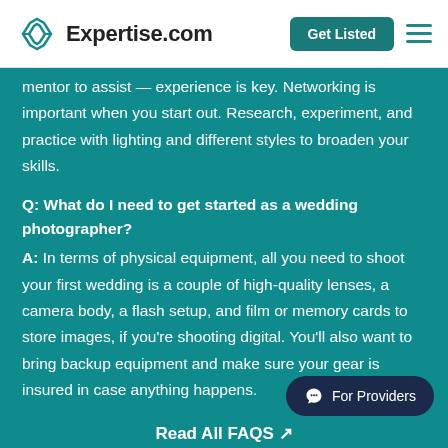Expertise.com | Get Listed
mentor to assist — experience is key. Networking is important when you start out. Research, experiment, and practice with lighting and different styles to broaden your skills.
Q: What do I need to get started as a wedding photographer?
A: In terms of physical equipment, all you need to shoot your first wedding is a couple of high-quality lenses, a camera body, a flash setup, and film or memory cards to store images, if you're shooting digital. You'll also want to bring backup equipment and make sure your gear is insured in case anything happens.
Read All FAQS